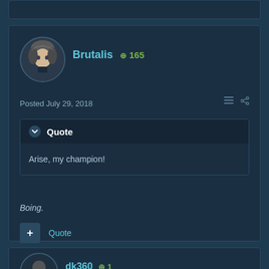[Figure (screenshot): Partial top of a forum post card, cut off at top of page]
Brutalis +165
Posted July 29, 2018
Quote
Arise, my champion!
Boing.
+ Quote
dk360 +1